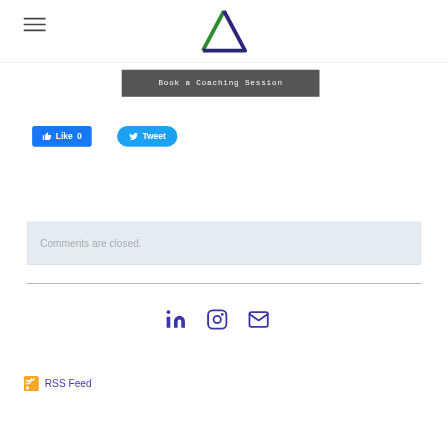[Figure (logo): Triangle logo with green left side and dark blue/purple right side, centered at top]
[Figure (screenshot): Dark grey button labeled 'Book a Coaching Session' in monospace font]
[Figure (screenshot): Facebook Like button (blue, count 0) and Twitter Tweet button (light blue)]
Comments are closed.
[Figure (infographic): Footer social icons: LinkedIn, Instagram, Email (envelope) in purple/indigo color]
RSS Feed